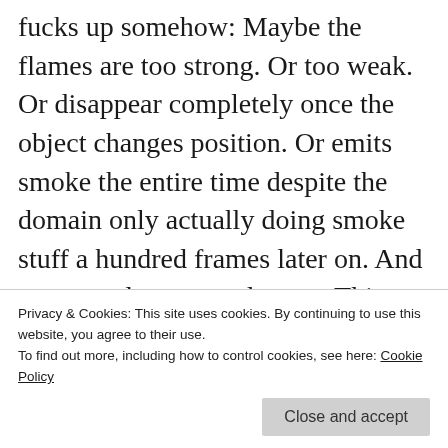fucks up somehow: Maybe the flames are too strong. Or too weak. Or disappear completely once the object changes position. Or emits smoke the entire time despite the domain only actually doing smoke stuff a hundred frames later on. And so on, and so on, and so on. This actually is one of the main differences between the YouTube version and the loop version on gfycat: I found the fire too weak in the initial render, however, upon changing it, everything went awry so I decided using a crappy particle
Privacy & Cookies: This site uses cookies. By continuing to use this website, you agree to their use.
To find out more, including how to control cookies, see here: Cookie Policy
Close and accept